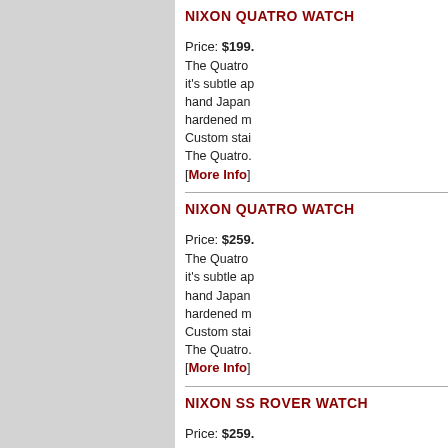NIXON QUATRO WATCH
Price: $199. The Quatro it's subtle ap hand Japan hardened m Custom stai The Quatro. [More Info]
NIXON QUATRO WATCH
Price: $259. The Quatro it's subtle ap hand Japan hardened m Custom stai The Quatro. [More Info]
NIXON SS ROVER WATCH
Price: $259. Back in blac stealth. MOV function. CA